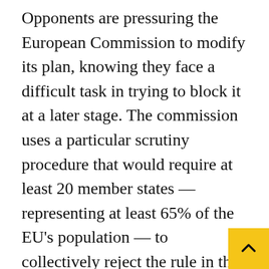Opponents are pressuring the European Commission to modify its plan, knowing they face a difficult task in trying to block it at a later stage. The commission uses a particular scrutiny procedure that would require at least 20 member states — representing at least 65% of the EU's population — to collectively reject the rule in the coming months, which is very unlikely.
For the first time since the unveiling of the Paris climate agreement in 2015, banks earned more fees arranging green-related bond s and loans than they did helping fossil-fue companies in the months ahead.